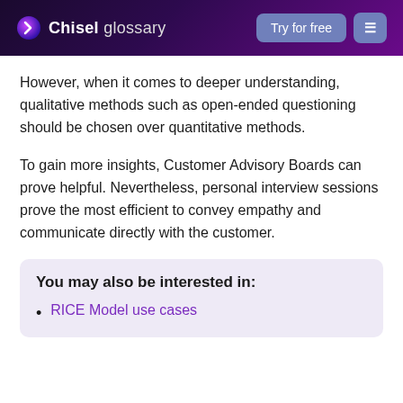Chisel glossary | Try for free | Menu
However, when it comes to deeper understanding, qualitative methods such as open-ended questioning should be chosen over quantitative methods.
To gain more insights, Customer Advisory Boards can prove helpful. Nevertheless, personal interview sessions prove the most efficient to convey empathy and communicate directly with the customer.
You may also be interested in:
RICE Model use cases